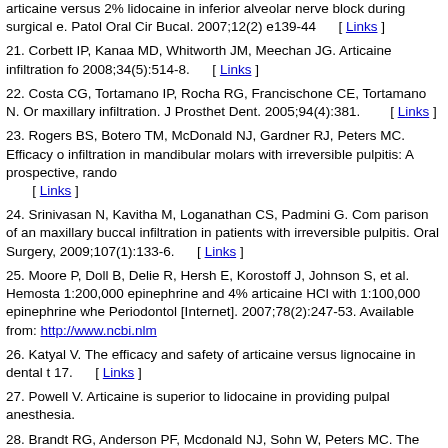articaine versus 2% lidocaine in inferior alveolar nerve block during surgical e. Patol Oral Cir Bucal. 2007;12(2) e139-44 [ Links ]
21. Corbett IP, Kanaa MD, Whitworth JM, Meechan JG. Articaine infiltration fo 2008;34(5):514-8. [ Links ]
22. Costa CG, Tortamano IP, Rocha RG, Francischone CE, Tortamano N. Or maxillary infiltration. J Prosthet Dent. 2005;94(4):381. [ Links ]
23. Rogers BS, Botero TM, McDonald NJ, Gardner RJ, Peters MC. Efficacy o infiltration in mandibular molars with irreversible pulpitis: A prospective, rando [ Links ]
24. Srinivasan N, Kavitha M, Loganathan CS, Padmini G. Com parison of an maxillary buccal infiltration in patients with irreversible pulpitis. Oral Surgery, 2009;107(1):133-6. [ Links ]
25. Moore P, Doll B, Delie R, Hersh E, Korostoff J, Johnson S, et al. Hemosta 1:200,000 epinephrine and 4% articaine HCl with 1:100,000 epinephrine whe Periodontol [Internet]. 2007;78(2):247-53. Available from: http://www.ncbi.nlm
26. Katyal V. The efficacy and safety of articaine versus lignocaine in dental t 17. [ Links ]
27. Powell V. Articaine is superior to lidocaine in providing pulpal anesthesia.
28. Brandt RG, Anderson PF, Mcdonald NJ, Sohn W, Peters MC. The pulpal dentistry A meta-analysis. J Am Dent Assoc. 2011;142:493-504. [ Links ]
29. Gaffen AS, Haas DA. Survey of local anesthetic use by Ontario dentists. [ Links ]